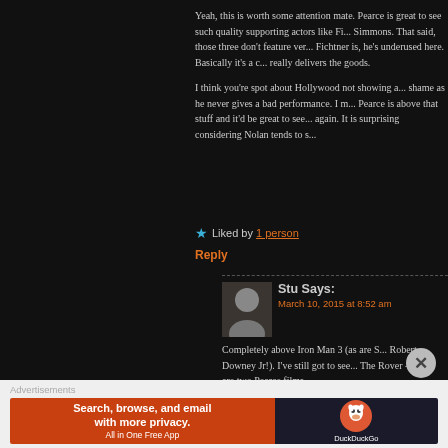Yeah, this is worth some attention mate. Pearce is great to see such quality supporting actors like Fi... Simmons. That said, those three don't feature ver... Fichtner is, he's underused here. Basically it's a c... really delivers the goods.

I think you're spot about Hollywood not showing a... shame as he never gives a bad performance. I m... Pearce is above that stuff and it'd be great to see... again. It is surprising considering Nolan tends to s...
★ Liked by 1 person
Reply
Stu Says:
March 10, 2015 at 8:52 am
Completely above Iron Man 3 (as are S... Robert Downey Jr!). I've still got to see... The Rover – those are two Pearce films...
★ Liked by 1 person
Advertisements
[Figure (infographic): DuckDuckGo advertisement banner: orange left side with text 'Search, browse, and email with more privacy. All in One Free App', dark right side with DuckDuckGo logo and duck icon]